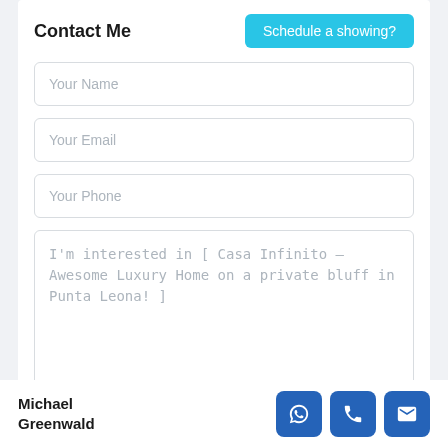Contact Me
Schedule a showing?
Your Name
Your Email
Your Phone
I'm interested in [ Casa Infinito – Awesome Luxury Home on a private bluff in Punta Leona! ]
Michael Greenwald